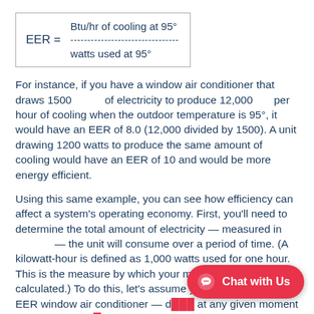For instance, if you have a window air conditioner that draws 1500      of electricity to produce 12,000      per hour of cooling when the outdoor temperature is 95°, it would have an EER of 8.0 (12,000 divided by 1500). A unit drawing 1200 watts to produce the same amount of cooling would have an EER of 10 and would be more energy efficient.
Using this same example, you can see how efficiency can affect a system's operating economy. First, you'll need to determine the total amount of electricity — measured in           — the unit will consume over a period of time. (A kilowatt-hour is defined as 1,000 watts used for one hour. This is the measure by which your monthly utility bills are calculated.) To do this, let's assume you operate your 8 EER window air conditioner — d      at any given moment — for an averag     day during the summer. At this rate, it will use 18,000 watt-hours or 18 kilowatt-hours (kWh) and the electricity...